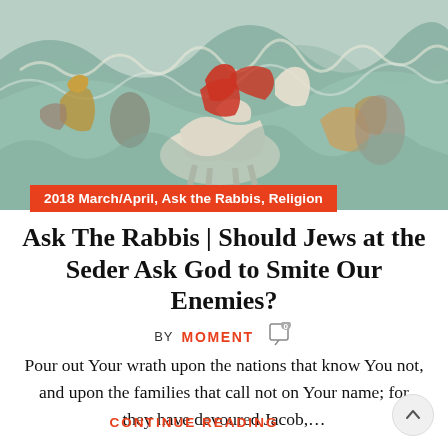[Figure (illustration): Historical painting of warriors on horseback riding through turbulent waters, with figures in ancient battle dress including red robes and armor]
2018 March/April, Ask the Rabbis, Religion
Ask The Rabbis | Should Jews at the Seder Ask God to Smite Our Enemies?
BY MOMENT
Pour out Your wrath upon the nations that know You not, and upon the families that call not on Your name; for they have devoured Jacob,...
CONTINUE READING